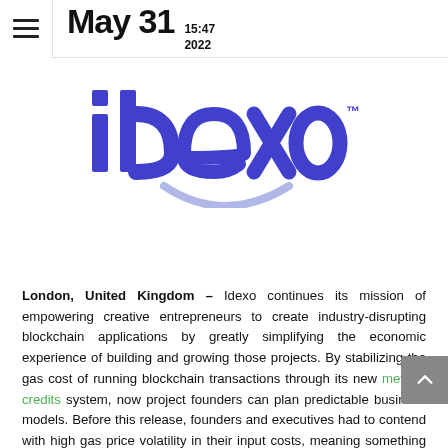May 31  15:47 2022
[Figure (logo): Idexo logo: bold blue lowercase letters 'idexo' with trademark symbol, and a light blue smile arc beneath]
London, United Kingdom – Idexo continues its mission of empowering creative entrepreneurs to create industry-disrupting blockchain applications by greatly simplifying the economic experience of building and growing those projects. By stabilizing the gas cost of running blockchain transactions through its new method credits system, now project founders can plan predictable business models. Before this release, founders and executives had to contend with high gas price volatility in their input costs, meaning something that is profitable one day could be unprofitable the next. This reality